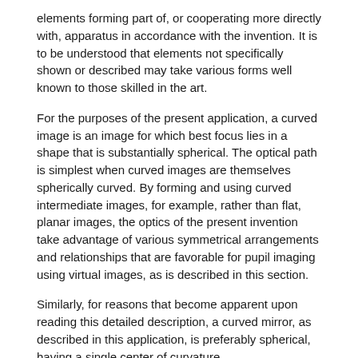elements forming part of, or cooperating more directly with, apparatus in accordance with the invention. It is to be understood that elements not specifically shown or described may take various forms well known to those skilled in the art.
For the purposes of the present application, a curved image is an image for which best focus lies in a shape that is substantially spherical. The optical path is simplest when curved images are themselves spherically curved. By forming and using curved intermediate images, for example, rather than flat, planar images, the optics of the present invention take advantage of various symmetrical arrangements and relationships that are favorable for pupil imaging using virtual images, as is described in this section.
Similarly, for reasons that become apparent upon reading this detailed description, a curved mirror, as described in this application, is preferably spherical, having a single center of curvature.
In the prior art autostereoscopic projection apparatus 10 described in U.S. Pat. No. 6,416,181 and as shown in FIG.